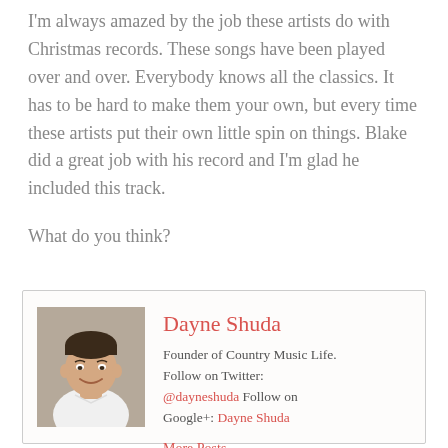I'm always amazed by the job these artists do with Christmas records. These songs have been played over and over. Everybody knows all the classics. It has to be hard to make them your own, but every time these artists put their own little spin on things. Blake did a great job with his record and I'm glad he included this track.
What do you think?
Dayne Shuda
Founder of Country Music Life. Follow on Twitter: @dayneshuda Follow on Google+: Dayne Shuda
More Posts